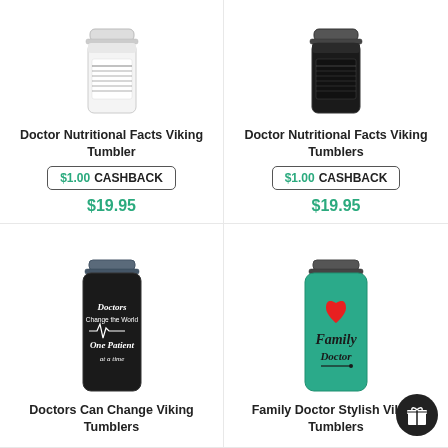[Figure (photo): White tumbler with lid - Doctor Nutritional Facts Viking Tumbler]
Doctor Nutritional Facts Viking Tumbler
$1.00 CASHBACK
$19.95
[Figure (photo): Black tumbler with lid - Doctor Nutritional Facts Viking Tumblers]
Doctor Nutritional Facts Viking Tumblers
$1.00 CASHBACK
$19.95
[Figure (photo): Black tumbler with text: Doctors Change the World One Patient at a time]
Doctors Can Change Viking Tumblers
[Figure (photo): Teal/turquoise tumbler with heart and Family Doctor text]
Family Doctor Stylish Viking Tumblers